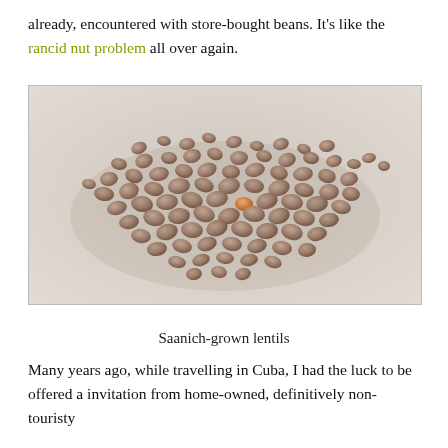already, encountered with store-bought beans. It's like the rancid nut problem all over again.
[Figure (photo): A photo of Saanich-grown lentils spread out on a light surface. The lentils are small, brownish-tan colored seeds, with one orange/red lentil visible among them.]
Saanich-grown lentils
Many years ago, while travelling in Cuba, I had the luck to be offered a invitation from home-owned, definitively non-touristy